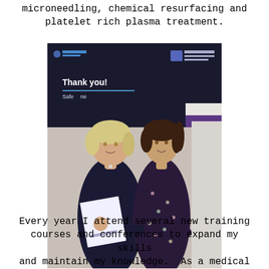microneedling, chemical resurfacing and platelet rich plasma treatment.
[Figure (photo): Two women standing together in front of a dark screen displaying 'Thank you! Safe...' and 'MD Codes Visionary' branding. The woman on the left has blonde hair and wears a dark navy dress, holding a book or brochure. The woman on the right has dark hair and wears a floral dress.]
Every year I attend several new training courses and conferences to expand my skills and maintain my knowledge. As a medical professional I also undergo a yearly